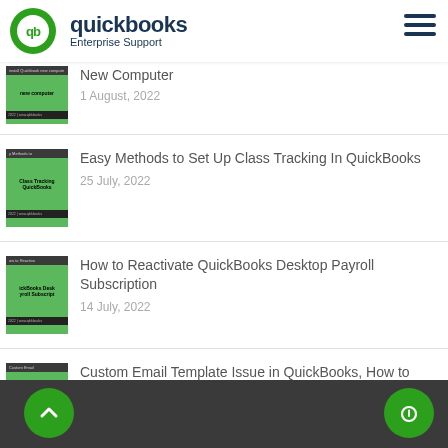quickbooks Enterprise Support
New Computer — 1 August, 2022
Easy Methods to Set Up Class Tracking In QuickBooks — 25 July, 2022
How to Reactivate QuickBooks Desktop Payroll Subscription — 14 July, 2022
Custom Email Template Issue in QuickBooks, How to Fix? — 3 July, 2022
Back to top | Chat